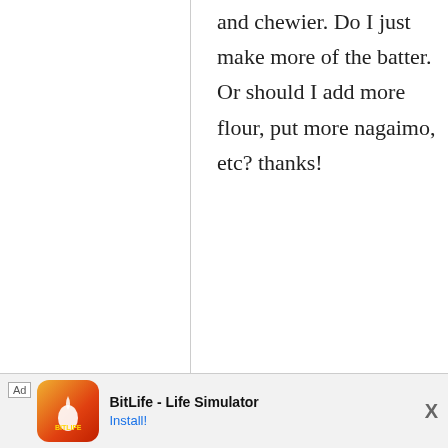and chewier. Do I just make more of the batter. Or should I add more flour, put more nagaimo, etc? thanks!
maki
30 September, 2010 - 12:20
permalink
Re: Okonomiyaki, Osaka style
If you want it to be denser and chewier try
[Figure (other): BitLife - Life Simulator advertisement banner at the bottom of the page with install button]